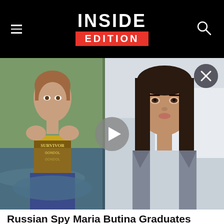INSIDE EDITION
[Figure (photo): Split video thumbnail: left side shows a woman in a Survivor bandeau top wet near water; right side shows a dark-haired woman in a blazer in an indoor setting. A play button is overlaid in the center and a close (X) button is in the top-right corner.]
Russian Spy Maria Butina Graduates From